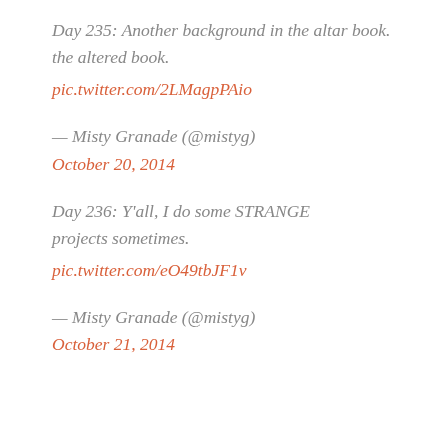Day 235: Another background in the altered book. pic.twitter.com/2LMagpPAio
— Misty Granade (@mistyg) October 20, 2014
Day 236: Y'all, I do some STRANGE projects sometimes. pic.twitter.com/eO49tbJF1v
— Misty Granade (@mistyg) October 21, 2014